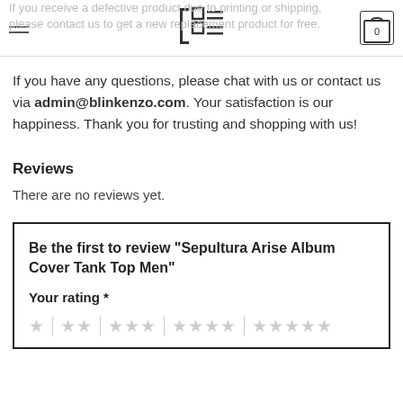Navigation header with hamburger menu, logo, and cart icon showing 0
If you receive a defective product due to printing or shipping, please contact us to get a new replacement product for free.
If you have any questions, please chat with us or contact us via admin@blinkenzo.com. Your satisfaction is our happiness. Thank you for trusting and shopping with us!
Reviews
There are no reviews yet.
Be the first to review “Sepultura Arise Album Cover Tank Top Men”
Your rating *